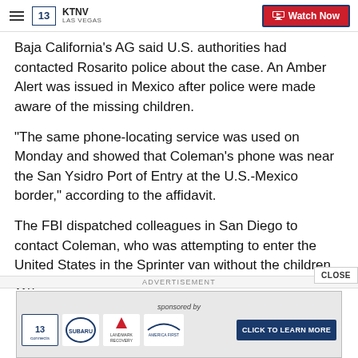KTNV LAS VEGAS — Watch Now
Baja California's AG said U.S. authorities had contacted Rosarito police about the case. An Amber Alert was issued in Mexico after police were made aware of the missing children.
"The same phone-locating service was used on Monday and showed that Coleman's phone was near the San Ysidro Port of Entry at the U.S.-Mexico border," according to the affidavit.
The FBI dispatched colleagues in San Diego to contact Coleman, who was attempting to enter the United States in the Sprinter van without the children. Wh
[Figure (screenshot): Advertisement banner: sponsored by 13 connects, Subaru, Landmark Recovery, America First — CLICK TO LEARN MORE]